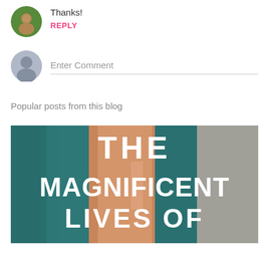Thanks!
REPLY
Enter Comment
Popular posts from this blog
[Figure (photo): Book cover showing 'THE MAGNIFICENT LIVES OF' text in large white bold letters on a background with teal fabric and skin tones]